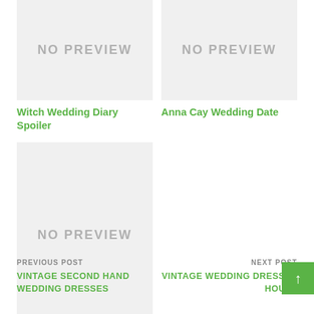[Figure (photo): No preview image placeholder - top left]
Witch Wedding Diary Spoiler
[Figure (photo): No preview image placeholder - top right]
Anna Cay Wedding Date
[Figure (photo): No preview image placeholder - bottom left]
14th Wedding Anniversary Gift Modern
PREVIOUS POST
VINTAGE SECOND HAND WEDDING DRESSES
NEXT POST
VINTAGE WEDDING DRESSES HOUST